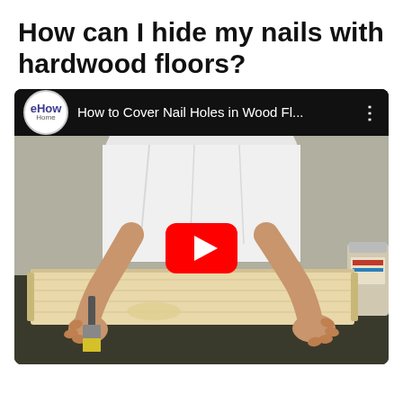How can I hide my nails with hardwood floors?
[Figure (screenshot): YouTube video thumbnail from eHow Home channel titled 'How to Cover Nail Holes in Wood Fl...' showing a person in a white t-shirt applying wood filler to a hardwood floor plank on a workbench using a putty knife, with a YouTube play button overlay in the center.]